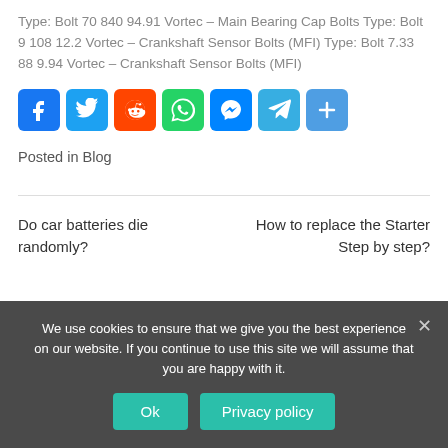Type: Bolt 70 840 94.91 Vortec – Main Bearing Cap Bolts Type: Bolt 9 108 12.2 Vortec – Crankshaft Sensor Bolts (MFI) Type: Bolt 7.33 88 9.94 Vortec – Crankshaft Sensor Bolts (MFI)
[Figure (other): Social share buttons: Facebook, Twitter, Reddit, WhatsApp, Messenger, Telegram, Share]
Posted in Blog
Do car batteries die randomly?
How to replace the Starter Step by step?
We use cookies to ensure that we give you the best experience on our website. If you continue to use this site we will assume that you are happy with it.